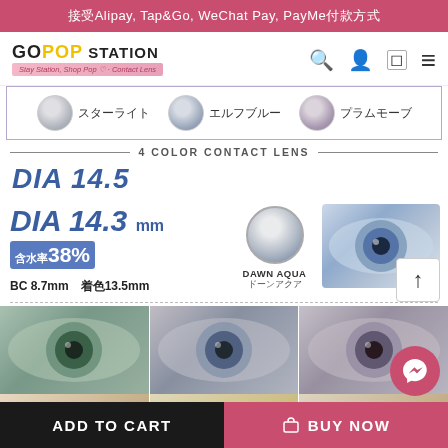接受Alipay, Tap&Go, WeChat Pay, PayMe付款方式
[Figure (screenshot): GoPop Station logo with navigation icons (search, account, cart, menu)]
[Figure (photo): Color contact lens swatches: スターライト, エルフブルー, プラムモーブ]
4 COLOR CONTACT LENS
DIA 14.5
DIA 14.3 mm
含水率38%
BC 8.7mm  着色13.5mm
[Figure (photo): DAWN AQUA / ドーンアクア contact lens swatch and eye model photo]
[Figure (photo): Three eye model photos showing contact lens colors: green, grey, and grey-mauve variants]
[Figure (photo): Bottom row of small contact lens thumbnails]